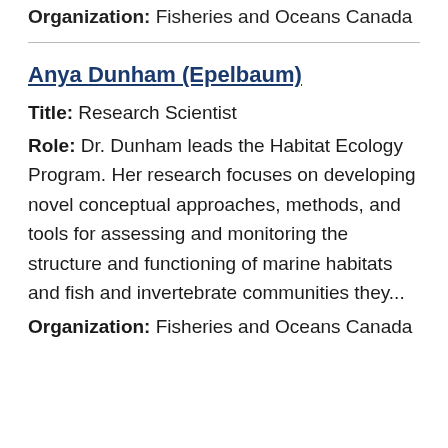Organization: Fisheries and Oceans Canada
Anya Dunham (Epelbaum)
Title: Research Scientist
Role: Dr. Dunham leads the Habitat Ecology Program. Her research focuses on developing novel conceptual approaches, methods, and tools for assessing and monitoring the structure and functioning of marine habitats and fish and invertebrate communities they...
Organization: Fisheries and Oceans Canada